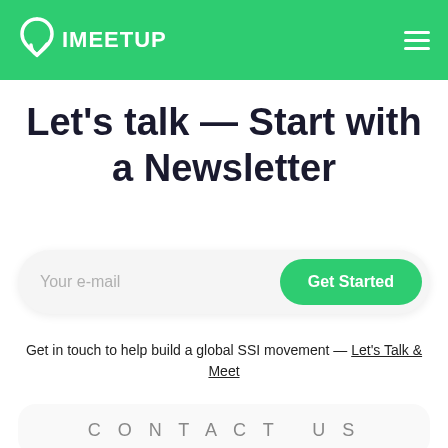IMEETUP
Let's talk — Start with a Newsletter
[Figure (other): Email input field with placeholder text 'Your e-mail' and a green 'Get Started' button]
Get in touch to help build a global SSI movement — Let's Talk & Meet
CONTACT US